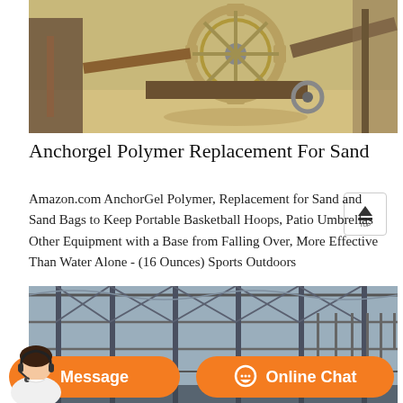[Figure (photo): Industrial machinery with large gear wheel and mechanical equipment at an outdoor site with sandy ground]
Anchorgel Polymer Replacement For Sand
Amazon.com AnchorGel Polymer, Replacement for Sand and Sand Bags to Keep Portable Basketball Hoops, Patio Umbrellas Other Equipment with a Base from Falling Over, More Effective Than Water Alone - (16 Ounces) Sports Outdoors
[Figure (photo): Interior of a large greenhouse or industrial structure with metal frame and glass/plastic roof panels]
[Figure (photo): Customer service chat interface showing a person with headset, Message button and Online Chat button in orange]